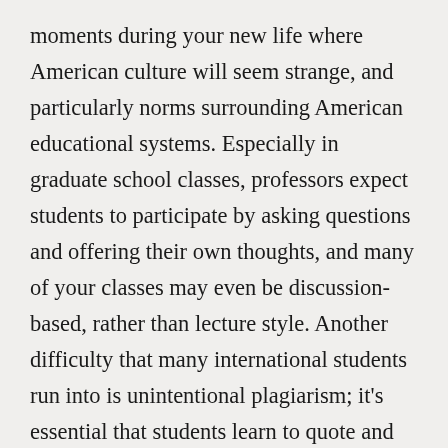moments during your new life where American culture will seem strange, and particularly norms surrounding American educational systems. Especially in graduate school classes, professors expect students to participate by asking questions and offering their own thoughts, and many of your classes may even be discussion-based, rather than lecture style. Another difficulty that many international students run into is unintentional plagiarism; it's essential that students learn to quote and cite other sources honestly and accurately, in the way that their professors expect. Academic work in the United States depends on making absolutely clear which ideas and language are your own, and which come from someone else; if the lines get blurred, the credibility of your work is undermined. Luckily, the library at your school most likely offers a workshop or resources for avoiding